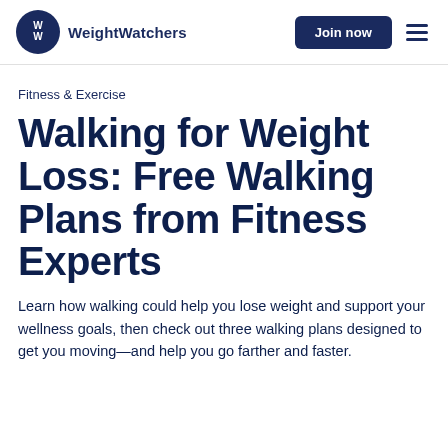WeightWatchers | Join now
Fitness & Exercise
Walking for Weight Loss: Free Walking Plans from Fitness Experts
Learn how walking could help you lose weight and support your wellness goals, then check out three walking plans designed to get you moving—and help you go farther and faster.